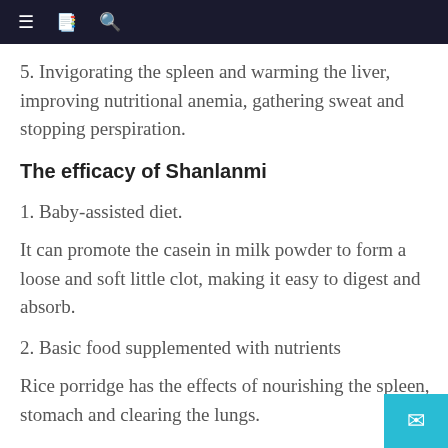≡  📖  🔍
5. Invigorating the spleen and warming the liver, improving nutritional anemia, gathering sweat and stopping perspiration.
The efficacy of Shanlanmi
1. Baby-assisted diet.
It can promote the casein in milk powder to form a loose and soft little clot, making it easy to digest and absorb.
2. Basic food supplemented with nutrients
Rice porridge has the effects of nourishing the spleen, stomach and clearing the lungs.